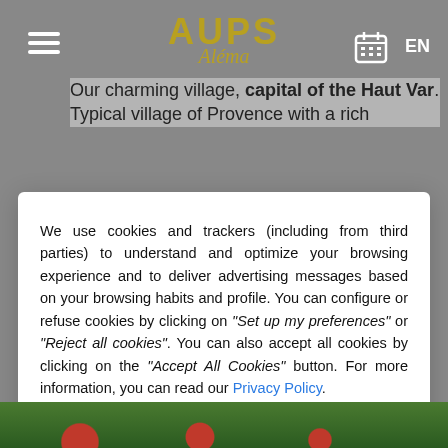AUPS - Alena / Our charming village, capital of the Haut Var. Typical village of Provence with a rich...
We use cookies and trackers (including from third parties) to understand and optimize your browsing experience and to deliver advertising messages based on your browsing habits and profile. You can configure or refuse cookies by clicking on "Set up my preferences" or "Reject all cookies". You can also accept all cookies by clicking on the "Accept All Cookies" button. For more information, you can read our Privacy Policy.
Reject all cookies
Set up my preferences
Accept all cookies